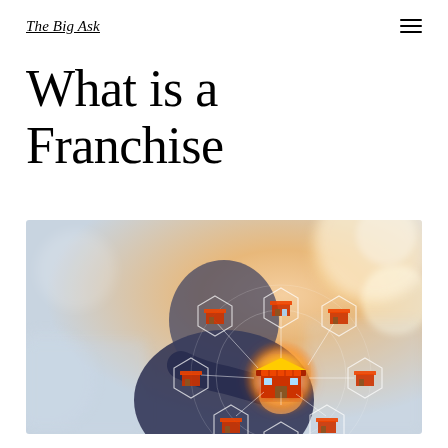The Big Ask
What is a Franchise
[Figure (photo): A person in a business suit holding up a glowing franchise network diagram with hexagonal store icons connected by lines, symbolizing a franchise business model. Warm bokeh background lighting.]